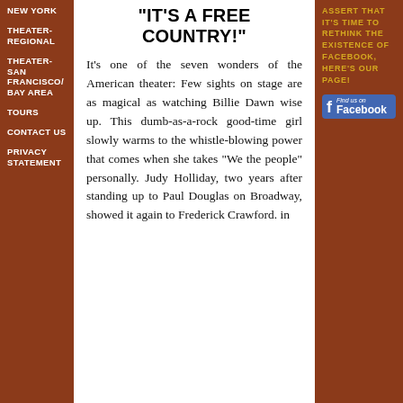NEW YORK
THEATER-REGIONAL
THEATER-SAN FRANCISCO/BAY AREA
TOURS
CONTACT US
PRIVACY STATEMENT
“IT’S A FREE COUNTRY!”
It’s one of the seven wonders of the American theater: Few sights on stage are as magical as watching Billie Dawn wise up. This dumb-as-a-rock good-time girl slowly warms to the whistle-blowing power that comes when she takes “We the people” personally. Judy Holliday, two years after standing up to Paul Douglas on Broadway, showed it again to Frederick Crawford. in
ASSERT THAT IT’S TIME TO RETHINK THE EXISTENCE OF FACEBOOK, HERE’S OUR PAGE!
[Figure (logo): Find us on Facebook badge with blue background and Facebook logo]